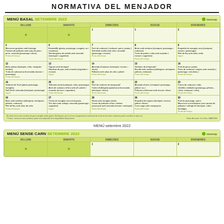NORMATIVA DEL MENJADOR
[Figure (table-as-image): Monthly meal calendar for MENÚ BASAL SETEMBRE 2022 showing daily menus Monday through Friday with food items listed per day]
MENÚ setembre 2022
[Figure (table-as-image): Monthly meal calendar for MENÚ SENSE CARN SETEMBRE 2022 showing daily menus Monday through Friday, partially visible]